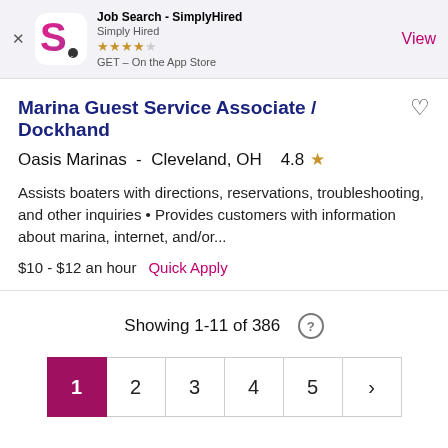[Figure (screenshot): App store banner for Job Search - SimplyHired app with logo, star rating and View button]
Marina Guest Service Associate / Dockhand
Oasis Marinas -  Cleveland, OH    4.8 ★
Assists boaters with directions, reservations, troubleshooting, and other inquiries • Provides customers with information about marina, internet, and/or...
$10 - $12 an hour   Quick Apply
Showing 1-11 of 386
1  2  3  4  5  >